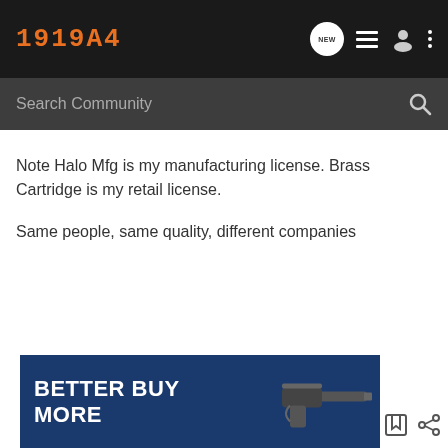1919A4
Note Halo Mfg is my manufacturing license. Brass Cartridge is my retail license.

Same people, same quality, different companies
[Figure (infographic): Advertisement banner with blue background reading 'BETTER BUY MORE' with a firearm image on the right side]